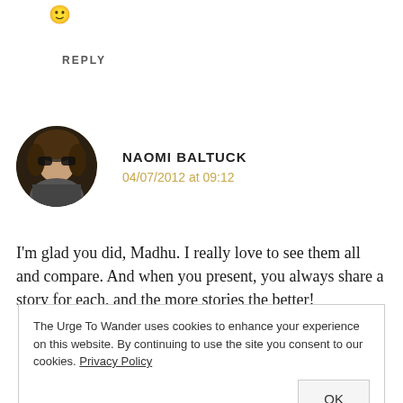[Figure (other): Smiley face emoji]
REPLY
[Figure (photo): Circular avatar photo of Naomi Baltuck, a person with curly hair and sunglasses]
NAOMI BALTUCK
04/07/2012 at 09:12
I'm glad you did, Madhu. I really love to see them all and compare. And when you present, you always share a story for each, and the more stories the better!
The Urge To Wander uses cookies to enhance your experience on this website. By continuing to use the site you consent to our cookies. Privacy Policy
OK